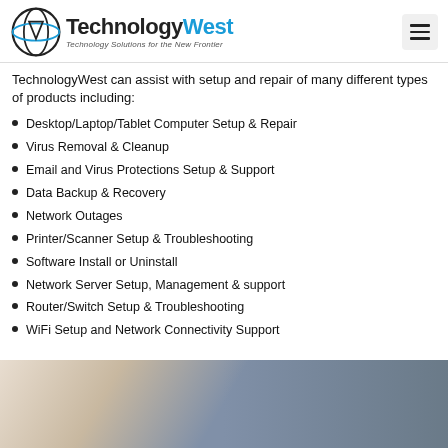TechnologyWest — Technology Solutions for the New Frontier
TechnologyWest can assist with setup and repair of many different types of products including:
Desktop/Laptop/Tablet Computer Setup & Repair
Virus Removal & Cleanup
Email and Virus Protections Setup & Support
Data Backup & Recovery
Network Outages
Printer/Scanner Setup & Troubleshooting
Software Install or Uninstall
Network Server Setup, Management & support
Router/Switch Setup & Troubleshooting
WiFi Setup and Network Connectivity Support
[Figure (photo): Photo of a tablet/laptop computer on a desk with papers and a coffee cup nearby]